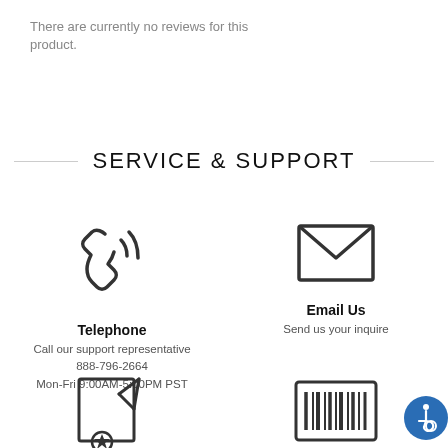There are currently no reviews for this product.
SERVICE & SUPPORT
[Figure (illustration): Phone/telephone icon with signal waves]
Telephone
Call our support representative
888-796-2664
Mon-Fri 9:00AM-5:00PM PST
[Figure (illustration): Email envelope icon]
Email Us
Send us your inquire
[Figure (illustration): Certificate/document with pen icon]
[Figure (illustration): Barcode icon]
[Figure (illustration): Accessibility icon (blue circle with wheelchair symbol)]